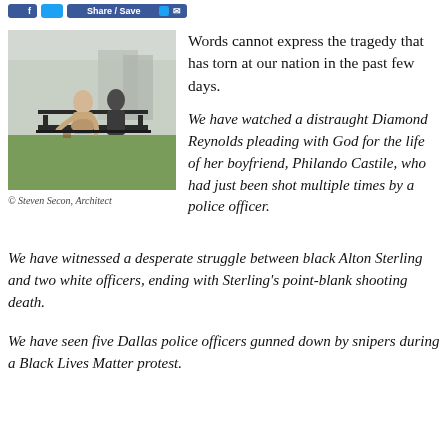Share / Save
[Figure (photo): Two sculptures sitting on a park bench outdoors, one lighter-colored figure leaning forward and one darker figure beside it, with greenery and buildings in the background.]
© Steven Secon, Architect
Words cannot express the tragedy that has torn at our nation in the past few days.
We have watched a distraught Diamond Reynolds pleading with God for the life of her boyfriend, Philando Castile, who had just been shot multiple times by a police officer.
We have witnessed a desperate struggle between black Alton Sterling and two white officers, ending with Sterling's point-blank shooting death.
We have seen five Dallas police officers gunned down by snipers during a Black Lives Matter protest.